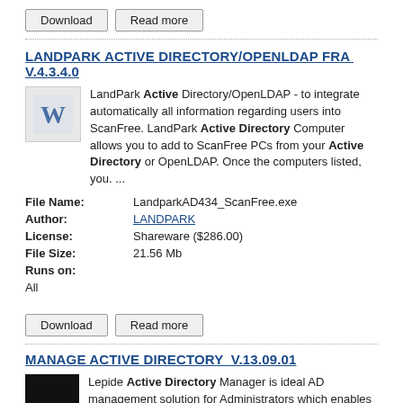[Figure (other): Download and Read more buttons at top]
LANDPARK ACTIVE DIRECTORY/OPENLDAP FRA  v.4.3.4.0
LandPark Active Directory/OpenLDAP - to integrate automatically all information regarding users into ScanFree. LandPark Active Directory Computer allows you to add to ScanFree PCs from your Active Directory or OpenLDAP. Once the computers listed, you. ...
| File Name: | LandparkAD434_ScanFree.exe |
| Author: | LANDPARK |
| License: | Shareware ($286.00) |
| File Size: | 21.56 Mb |
| Runs on: | All |
[Figure (other): Download and Read more buttons at bottom]
Manage Active Directory  v.13.09.01
Lepide Active Directory Manager is ideal AD management solution for Administrators which enables them to effectively